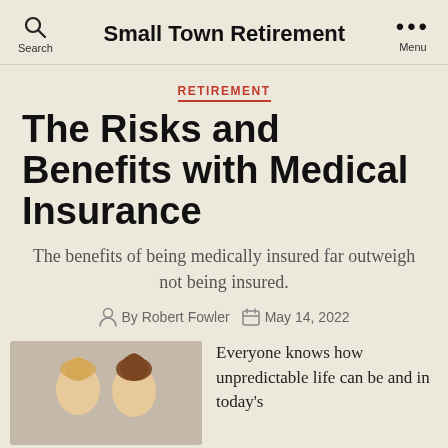Search | Small Town Retirement | Menu
RETIREMENT
The Risks and Benefits with Medical Insurance
The benefits of being medically insured far outweigh not being insured.
By Robert Fowler   May 14, 2022
[Figure (photo): Two women photographed from the shoulders up]
Everyone knows how unpredictable life can be and in today's...